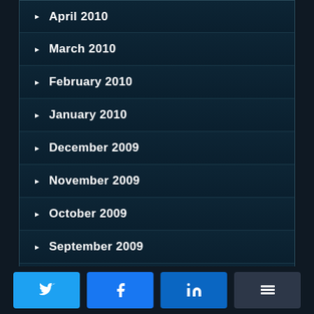April 2010
March 2010
February 2010
January 2010
December 2009
November 2009
October 2009
September 2009
August 2009
July 2009
[Figure (infographic): Social sharing buttons: Twitter, Facebook, LinkedIn, Buffer]